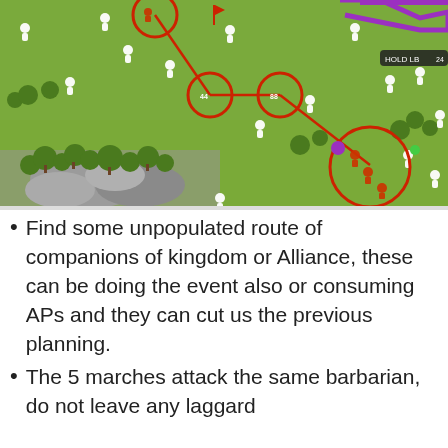[Figure (screenshot): Strategy game map screenshot showing a green field landscape with white troop figures, trees, rocks, red circles highlighting groups of units connected by red lines indicating a march route, and a purple border region in the upper right corner.]
Find some unpopulated route of companions of kingdom or Alliance, these can be doing the event also or consuming APs and they can cut us the previous planning.
The 5 marches attack the same barbarian, do not leave any laggard